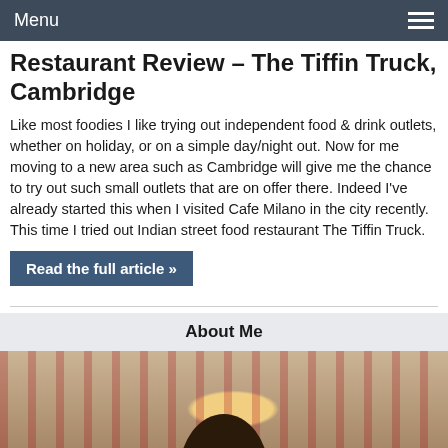Menu
Restaurant Review – The Tiffin Truck, Cambridge
Like most foodies I like trying out independent food & drink outlets, whether on holiday, or on a simple day/night out. Now for me moving to a new area such as Cambridge will give me the chance to try out such small outlets that are on offer there. Indeed I've already started this when I visited Cafe Milano in the city recently. This time I tried out Indian street food restaurant The Tiffin Truck.
Read the full article »
About Me
[Figure (photo): Portrait photo of a person with dark hair in a restaurant setting with red curtains and a warm light in the background.]